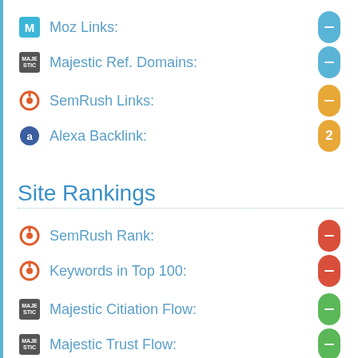Moz Links: -
Majestic Ref. Domains: -
SemRush Links: -
Alexa Backlink: 2
Site Rankings
SemRush Rank: -
Keywords in Top 100: -
Majestic Citiation Flow: -
Majestic Trust Flow: -
Moz Rank: -
Alexa Rank: -